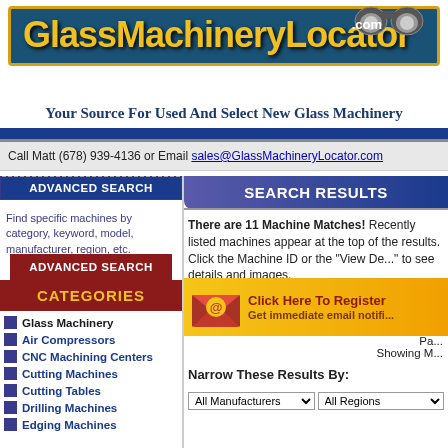[Figure (logo): GlassMachineryLocator.com logo with binoculars image, blue background, gold border, yellow text]
Your Source For Used And Select New Glass Machinery
Call Matt (678) 939-4136 or Email sales@GlassMachineryLocator.com
ADVANCED SEARCH
Find specific machines by category, keyword, model, manufacturer, region, etc.
ADVANCED SEARCH
CATEGORIES
Glass Machinery
Air Compressors
CNC Machining Centers
Cutting Machines
Cutting Tables
Drilling Machines
Edging Machines
SEARCH RESULTS
There are 11 Machine Matches! Recently listed machines appear at the top of the results. Click the Machine ID or the "View De..." to see details and images.
Click Here To Register
Get immediate email notifi...
Pa...
Showing M...
Narrow These Results By:
All Manufacturers     All Regions